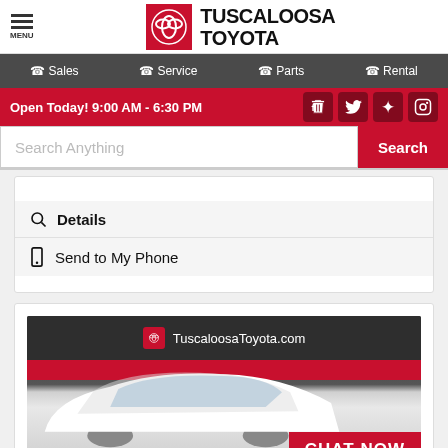[Figure (logo): Tuscaloosa Toyota dealership logo with Toyota badge and dealership name]
MENU | Sales | Service | Parts | Rental
Open Today! 9:00 AM - 6:30 PM
Search Anything
Details
Send to My Phone
[Figure (photo): White Toyota sedan with TuscaloosaToyota.com branding and CHAT NOW button overlay]